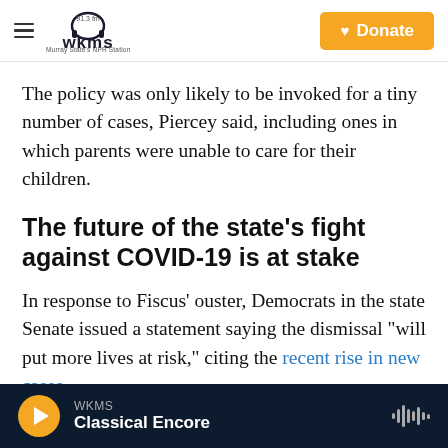WKMS 91.3 fm — Murray State's NPR Station | Donate
The policy was only likely to be invoked for a tiny number of cases, Piercey said, including ones in which parents were unable to care for their children.
The future of the state's fight against COVID-19 is at stake
In response to Fiscus' ouster, Democrats in the state Senate issued a statement saying the dismissal "will put more lives at risk," citing the recent rise in new cases.
WKMS Classical Encore